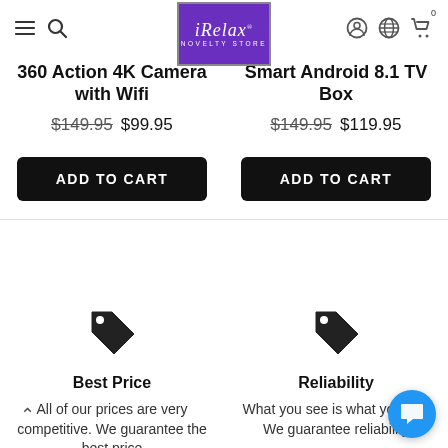iRelax Novelty Store navigation bar with menu, search, logo, account, globe, and cart icons
360 Action 4K Camera with Wifi
$149.95  $99.95
ADD TO CART
Smart Android 8.1 TV Box
$149.95  $119.95
ADD TO CART
Best Price
All of our prices are very competitive. We guarantee the best price
Reliability
What you see is what you get. We guarantee reliability